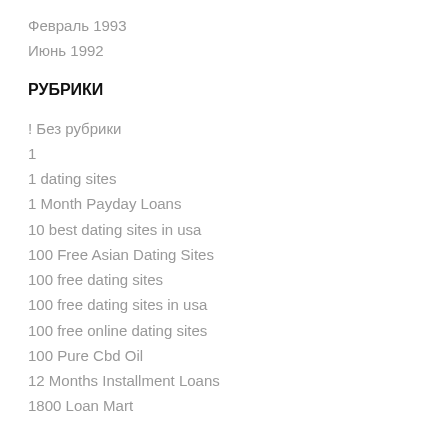Февраль 1993
Июнь 1992
РУБРИКИ
! Без рубрики
1
1 dating sites
1 Month Payday Loans
10 best dating sites in usa
100 Free Asian Dating Sites
100 free dating sites
100 free dating sites in usa
100 free online dating sites
100 Pure Cbd Oil
12 Months Installment Loans
1800 Loan Mart